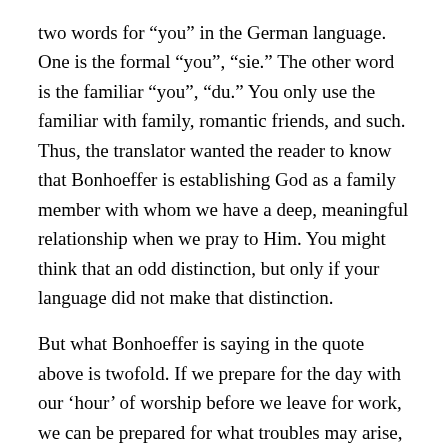two words for “you” in the German language.  One is the formal “you”, “sie.”  The other word is the familiar “you”, “du.”  You only use the familiar with family, romantic friends, and such.  Thus, the translator wanted the reader to know that Bonhoeffer is establishing God as a family member with whom we have a deep, meaningful relationship when we pray to Him.  You might think that an odd distinction, but only if your language did not make that distinction.
But what Bonhoeffer is saying in the quote above is twofold.  If we prepare for the day with our ‘hour’ of worship before we leave for work, we can be prepared for what troubles may arise, the It, which almost always has a little trouble attached.  But then